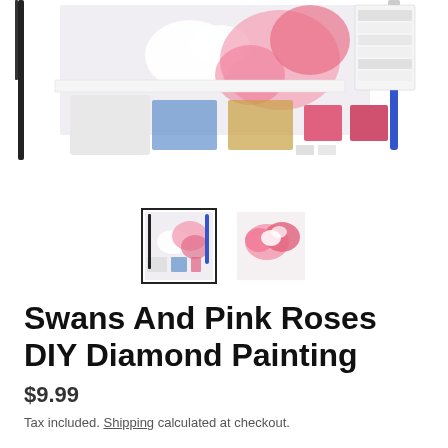[Figure (photo): Product photo of a diamond painting kit showing swans and pink roses artwork, craft tools including tweezers and a pen, beads tray, and accessories laid out on a white background.]
[Figure (photo): Two thumbnail images of the diamond painting kit product. The first (selected, with black border) shows the kit contents. The second shows a close-up of swans and pink roses artwork.]
Swans And Pink Roses DIY Diamond Painting
$9.99
Tax included. Shipping calculated at checkout.